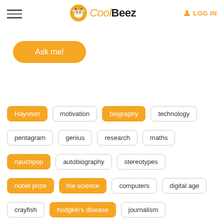CoolBeez — LOG IN
Ask me!
Научпоп
motivation
biography
technology
pentagram
genius
research
maths
nauchpop
autobiography
stereotypes
nobel prize
the science
computers
digital age
crayfish
hodgkin's disease
journalism